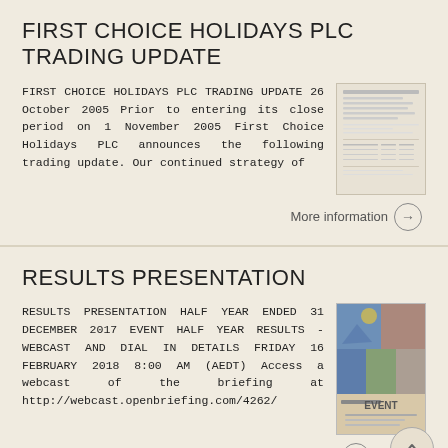FIRST CHOICE HOLIDAYS PLC TRADING UPDATE
FIRST CHOICE HOLIDAYS PLC TRADING UPDATE 26 October 2005 Prior to entering its close period on 1 November 2005 First Choice Holidays PLC announces the following trading update. Our continued strategy of
More information →
RESULTS PRESENTATION
RESULTS PRESENTATION HALF YEAR ENDED 31 DECEMBER 2017 EVENT HALF YEAR RESULTS - WEBCAST AND DIAL IN DETAILS FRIDAY 16 FEBRUARY 2018 8:00 AM (AEDT) Access a webcast of the briefing at http://webcast.openbriefing.com/4262/
More information →